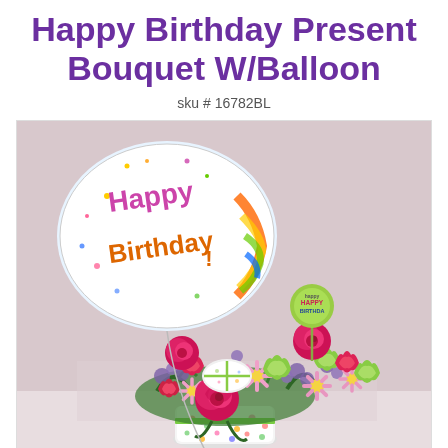Happy Birthday Present Bouquet W/Balloon
sku # 16782BL
[Figure (photo): A colorful birthday flower bouquet arrangement featuring hot pink roses, pink daisies, green carnations, red carnations, and purple statice flowers in a white polka-dot vase with green ribbon. A round 'Happy Birthday' mylar balloon floats above on the left, and a small round gift box decoration sits among the flowers. A green 'happy HAPPY BIRTHDAY' pick is inserted in the arrangement. The background is a soft pink/mauve color.]